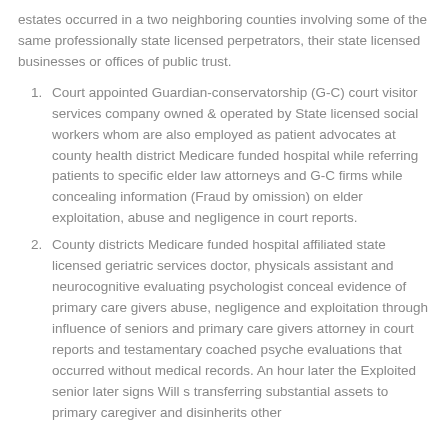estates occurred in a two neighboring counties involving some of the same professionally state licensed perpetrators, their state licensed businesses or offices of public trust.
Court appointed Guardian-conservatorship (G-C) court visitor services company owned & operated by State licensed social workers whom are also employed as patient advocates at county health district Medicare funded hospital while referring patients to specific elder law attorneys and G-C firms while concealing information (Fraud by omission) on elder exploitation, abuse and negligence in court reports.
County districts Medicare funded hospital affiliated state licensed geriatric services doctor, physicals assistant and neurocognitive evaluating psychologist conceal evidence of primary care givers abuse, negligence and exploitation through influence of seniors and primary care givers attorney in court reports and testamentary coached psyche evaluations that occurred without medical records. An hour later the Exploited senior later signs Will s transferring substantial assets to primary caregiver and disinherits other